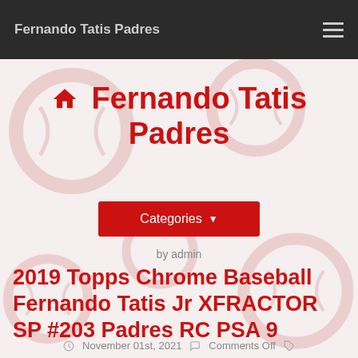Fernando Tatis Padres
Fernando Tatis Padres
Categories
by admin
2019 Topps Chrome Baseball Fernando Tatis Jr XFRACTOR SP #203 Padres RC PSA 9
November 01st, 2021  Comments Off